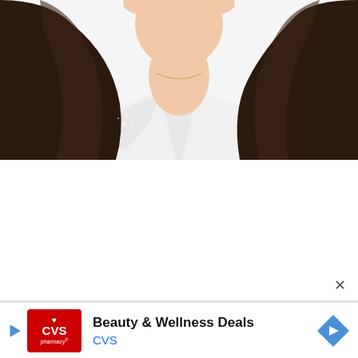[Figure (photo): Close-up photo of a woman with long dark brown wavy hair wearing a white button-up shirt, visible from shoulders/neck up, cropped to show chin/neck and hair. White background.]
[Figure (infographic): CVS Pharmacy advertisement banner. Contains CVS pharmacy red logo with heart, text 'Beauty & Wellness Deals' in bold black, 'CVS' in blue, a blue play icon on the left, and a blue diamond navigation arrow icon on the right.]